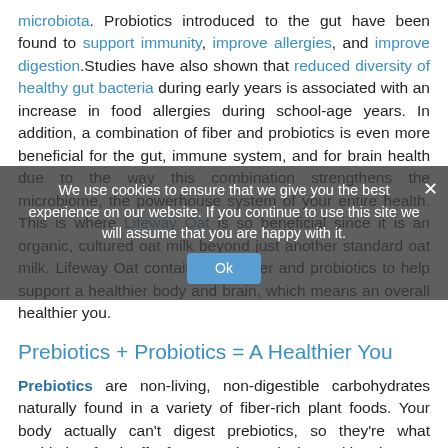microbiota. Probiotics introduced to the gut have been found to support immunity, improve allergies, and improve digestion.Studies have also shown that reduced diversity of healthy gut bacteria during early years is associated with an increase in food allergies during school-age years. In addition, a combination of fiber and probiotics is even more beneficial for the gut, immune system, and for brain health due to the way this combination strengthens the microbiome, the powerhouse system of your entire health. This is where Lifeway Oat is so beneficial since it is an organic, cultured oat milk beyond just another standard oat milk. Lifeway Oat contains both fiber and probiotics to help support a healthier body and brain, which means an overall healthier you.
Prebiotics + Probiotics = A Healthier You
Prebiotics are non-living, non-digestible carbohydrates naturally found in a variety of fiber-rich plant foods. Your body actually can't digest prebiotics, so they're what probiotics feed off of to remain actively working in your digestive system. They help the digestive system by promoting the growth of good bacteria. Prebiotics and probiotics work together in balance to make sure our digestive system stays on track and regular. Research has found that consuming a variety of prebiotic and probiotic food sources may improve your body's natural functions, including both your immune and digestive systems.